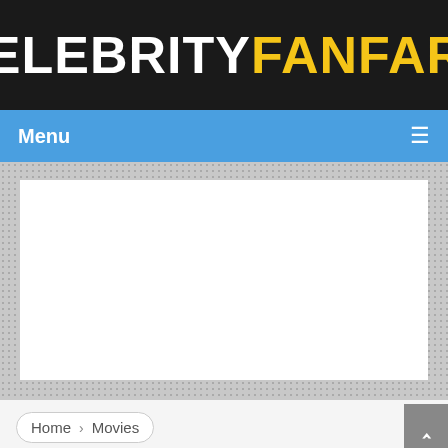CELEBRITY FANFARE
Menu
[Figure (other): Advertisement placeholder — white rectangle]
Home › Movies
SYLVESTER STALLONE FINISHES